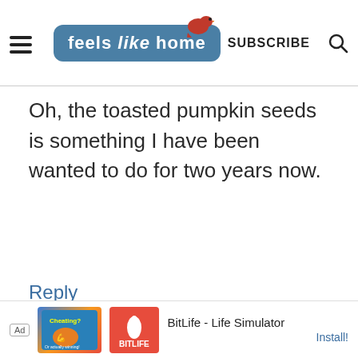[Figure (logo): Feels Like Home blog logo with blue rounded badge, stylized text, and red bird on top, plus hamburger menu icon, SUBSCRIBE text, and search icon]
Oh, the toasted pumpkin seeds is something I have been wanted to do for two years now.
Reply
Jade says
[Figure (screenshot): Ad banner: BitLife - Life Simulator with Install button]